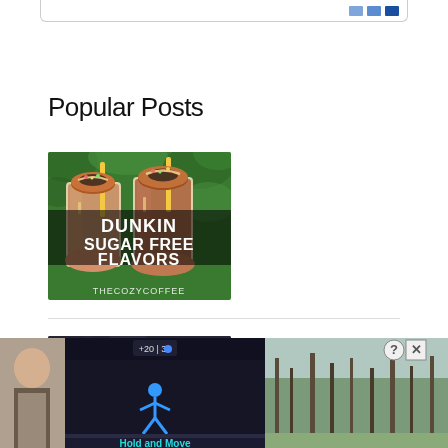Popular Posts
[Figure (photo): Photo of two Dunkin' iced coffee drinks with donuts on top, with text overlay reading 'DUNKIN SUGAR FREE FLAVORS' and watermark 'THECOZYCOFFEE']
[Figure (photo): Partially visible dark-toned photo below divider line]
[Figure (screenshot): Mobile game advertisement banner at bottom of page showing 'Hold and Move' game with score display and character figure, alongside outdoor winter tree photos and close/help buttons]